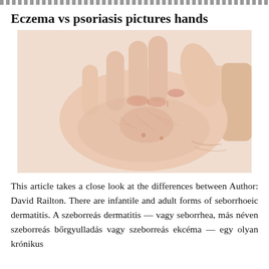Eczema vs psoriasis pictures hands
[Figure (photo): A human hand shown palm-up with visible dry, flaky, and irritated skin consistent with eczema or psoriasis on the knuckles and palm area.]
This article takes a close look at the differences between Author: David Railton. There are infantile and adult forms of seborrhoeic dermatitis. A szeborreás dermatitis — vagy seborrhea, más néven szeborreás bőrgyulladás vagy szeborreás ekcéma — egy olyan krónikus